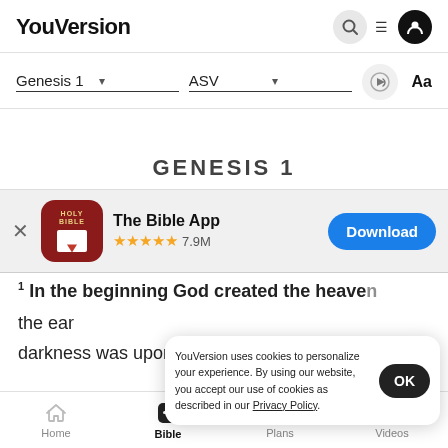YouVersion
Genesis 1  ASV
GENESIS 1
[Figure (screenshot): The Bible App promotional banner with app icon (Holy Bible), star rating 7.9M reviews, and Download button]
1 In the beginning God created the heaven the ear darkness was upon the face of the deep. and the
YouVersion uses cookies to personalize your experience. By using our website, you accept our use of cookies as described in our Privacy Policy.
Home  Bible  Plans  Videos